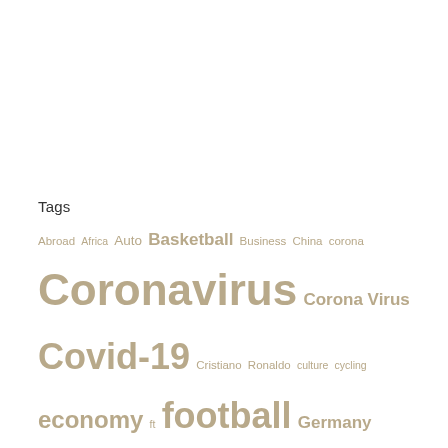Tags
Abroad Africa Auto Basketball Business China corona Coronavirus Corona Virus Covid-19 Cristiano Ronaldo culture cycling economy ft football Germany government handball health Indonesia information international national New News newspaper new York opinion pandemic photo politics premier league report Russia Soccer Southgerman newspaper sport Sports TV Ukraine United States USA video World